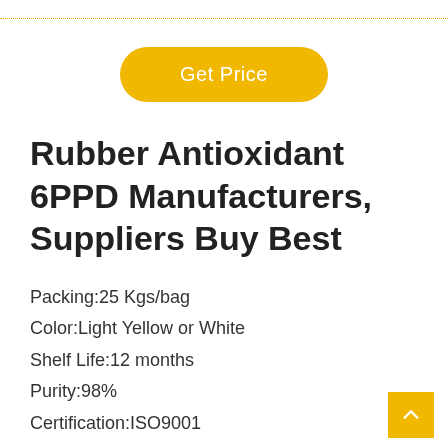Get Price
Rubber Antioxidant 6PPD Manufacturers, Suppliers Buy Best
Packing:25 Kgs/bag
Color:Light Yellow or White
Shelf Life:12 months
Purity:98%
Certification:ISO9001